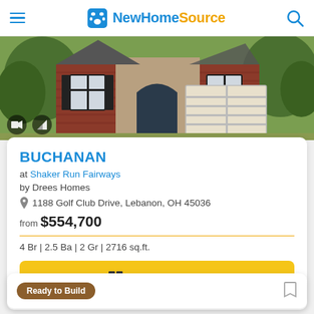NewHomeSource
[Figure (photo): Exterior photo of the Buchanan home — brick and stone facade with black shutters, arched entry door, and two-car garage, surrounded by trees]
BUCHANAN
at Shaker Run Fairways
by Drees Homes
1188 Golf Club Drive, Lebanon, OH 45036
from $554,700
4 Br | 2.5 Ba | 2 Gr | 2716 sq.ft.
Get Brochure
Ready to Build